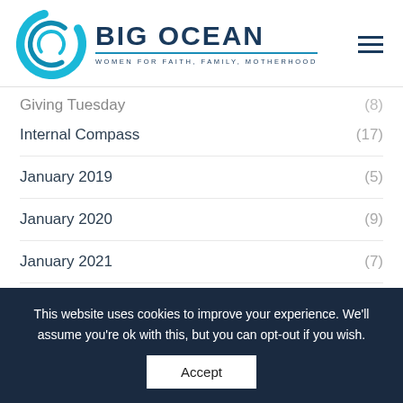BIG OCEAN — WOMEN FOR FAITH, FAMILY, MOTHERHOOD
Giving Tuesday (8)
Internal Compass (17)
January 2019 (5)
January 2020 (9)
January 2021 (7)
January 2022 (6)
July 2019 (8)
July 2020 (8)
This website uses cookies to improve your experience. We'll assume you're ok with this, but you can opt-out if you wish. Accept